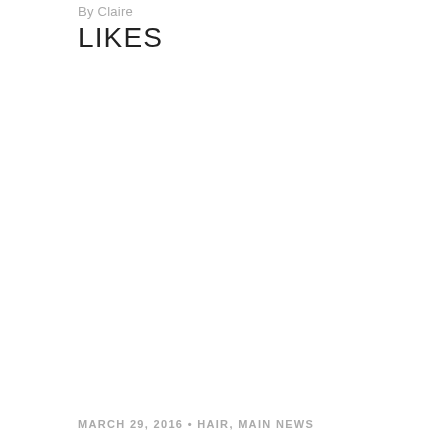By Claire
LIKES
MARCH 29, 2016 • HAIR, MAIN NEWS